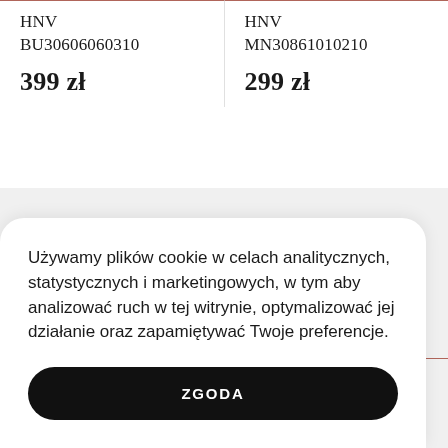HNV BU30606060310
399 zł
HNV MN30861010210
299 zł
Używamy plików cookie w celach analitycznych, statystycznych i marketingowych, w tym aby analizować ruch w tej witrynie, optymalizować jej działanie oraz zapamiętywać Twoje preferencje.
ZGODA
90310